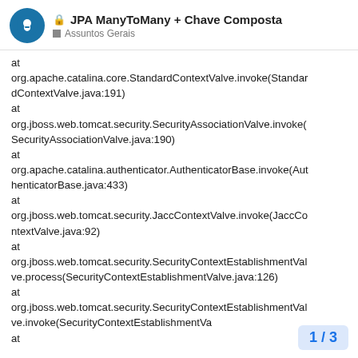JPA ManyToMany + Chave Composta — Assuntos Gerais
at
org.apache.catalina.core.StandardContextValve.invoke(StandardContextValve.java:191)
at
org.jboss.web.tomcat.security.SecurityAssociationValve.invoke(SecurityAssociationValve.java:190)
at
org.apache.catalina.authenticator.AuthenticatorBase.invoke(AuthenticatorBase.java:433)
at
org.jboss.web.tomcat.security.JaccContextValve.invoke(JaccContextValve.java:92)
at
org.jboss.web.tomcat.security.SecurityContextEstablishmentValve.process(SecurityContextEstablishmentValve.java:126)
at
org.jboss.web.tomcat.security.SecurityContextEstablishmentValve.invoke(SecurityContextEstablishmentVa
at
1 / 3